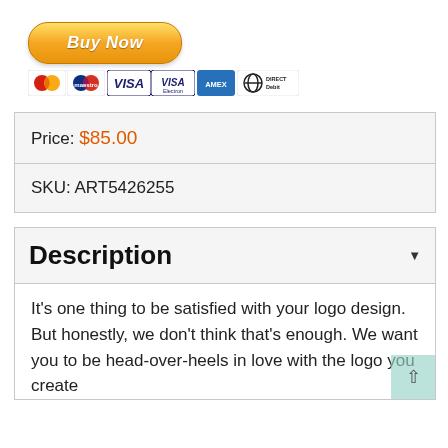[Figure (other): Buy Now button with PayPal-style golden gradient, accompanied by payment icons: MasterCard, Maestro, Visa, Visa Electron, American Express, Direct Debit]
| Price: | $85.00 |
| SKU: | ART5426255 |
Description
It's one thing to be satisfied with your logo design. But honestly, we don't think that's enough. We want you to be head-over-heels in love with the logo you create